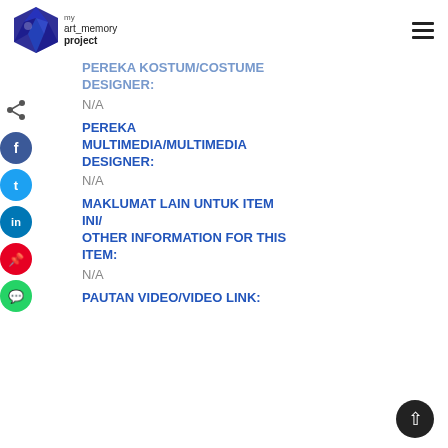my art memory project
PEREKA KOSTUM/COSTUME DESIGNER:
N/A
PEREKA MULTIMEDIA/MULTIMEDIA DESIGNER:
N/A
MAKLUMAT LAIN UNTUK ITEM INI/ OTHER INFORMATION FOR THIS ITEM:
N/A
PAUTAN VIDEO/VIDEO LINK: